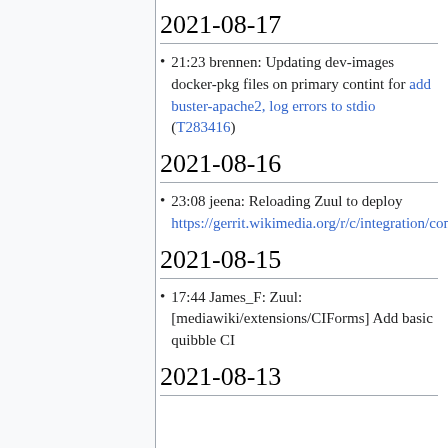2021-08-17
21:23 brennen: Updating dev-images docker-pkg files on primary contint for add buster-apache2, log errors to stdio (T283416)
2021-08-16
23:08 jeena: Reloading Zuul to deploy https://gerrit.wikimedia.org/r/c/integration/config/+/711731
2021-08-15
17:44 James_F: Zuul: [mediawiki/extensions/CIForms] Add basic quibble CI
2021-08-13